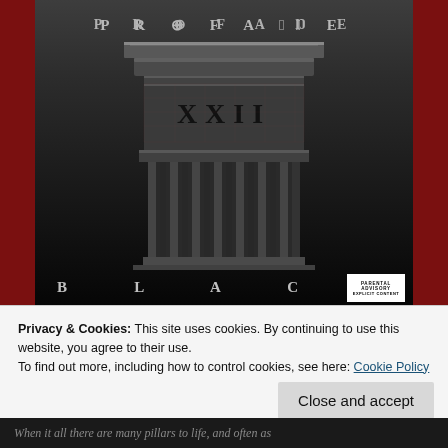[Figure (illustration): Album cover for 'Profane XXII Black' showing a Greek/Roman column capital (Doric style) in dark grey tones against a gradient dark background. The word PROFANE appears at the top in spaced capital letters, XXII on the column body, and BLACK at the bottom in spaced capitals. A Parental Advisory label appears in the bottom right corner.]
Privacy & Cookies: This site uses cookies. By continuing to use this website, you agree to their use.
To find out more, including how to control cookies, see here: Cookie Policy
Close and accept
When it all there are many pillars to life, and often as